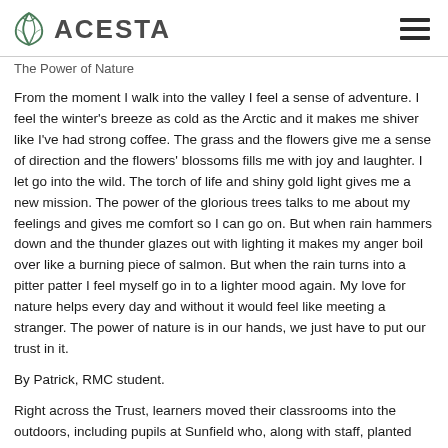ACESTA
The Power of Nature
From the moment I walk into the valley I feel a sense of adventure. I feel the winter's breeze as cold as the Arctic and it makes me shiver like I've had strong coffee. The grass and the flowers give me a sense of direction and the flowers' blossoms fills me with joy and laughter. I let go into the wild. The torch of life and shiny gold light gives me a new mission. The power of the glorious trees talks to me about my feelings and gives me comfort so I can go on. But when rain hammers down and the thunder glazes out with lighting it makes my anger boil over like a burning piece of salmon. But when the rain turns into a pitter patter I feel myself go in to a lighter mood again. My love for nature helps every day and without it would feel like meeting a stranger. The power of nature is in our hands, we just have to put our trust in it.
By Patrick, RMC student.
Right across the Trust, learners moved their classrooms into the outdoors, including pupils at Sunfield who, along with staff, planted